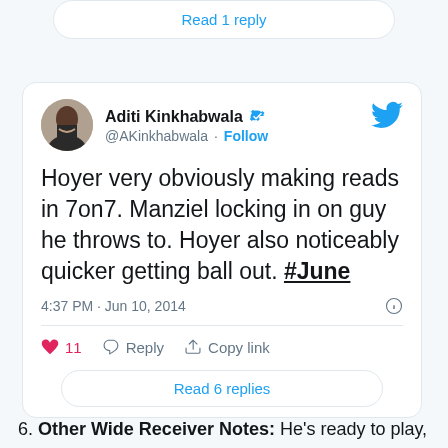Read 1 reply
[Figure (screenshot): Tweet by Aditi Kinkhabwala (@AKinkhabwala) with verified badge and Follow button. Tweet text: Hoyer very obviously making reads in 7on7. Manziel locking in on guy he throws to. Hoyer also noticeably quicker getting ball out. #June. Posted 4:37 PM · Jun 10, 2014. 11 likes. Reply and Copy link actions. Read 6 replies button.]
6. Other Wide Receiver Notes: He's ready to play,